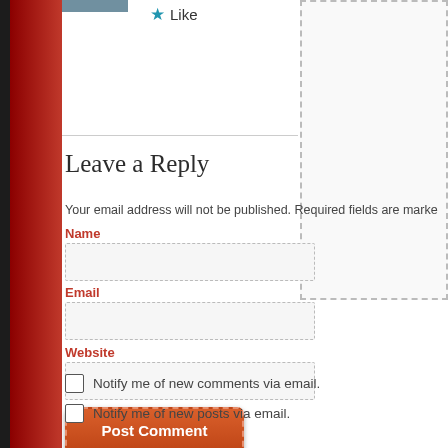[Figure (photo): Partial thumbnail image at top left]
★ Like
Leave a Reply
Your email address will not be published. Required fields are marked
Name
Email
Website
Post Comment
Notify me of new comments via email.
Notify me of new posts via email.